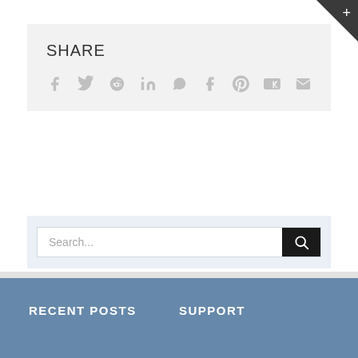SHARE
[Figure (infographic): Social share icons: Facebook, Twitter, Reddit, LinkedIn, WhatsApp, Tumblr, Pinterest, VK, Email]
[Figure (other): Search bar with text input placeholder 'Search...' and a black search button with magnifying glass icon]
RECENT POSTS
SUPPORT